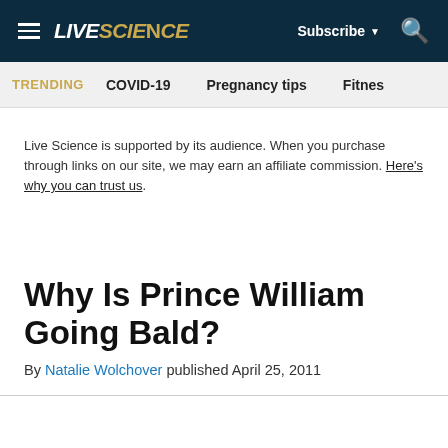LIVE SCIENCE — Subscribe ▼ 🔍
TRENDING   COVID-19   Pregnancy tips   Fitnes
Live Science is supported by its audience. When you purchase through links on our site, we may earn an affiliate commission. Here's why you can trust us.
Why Is Prince William Going Bald?
By Natalie Wolchover published April 25, 2011